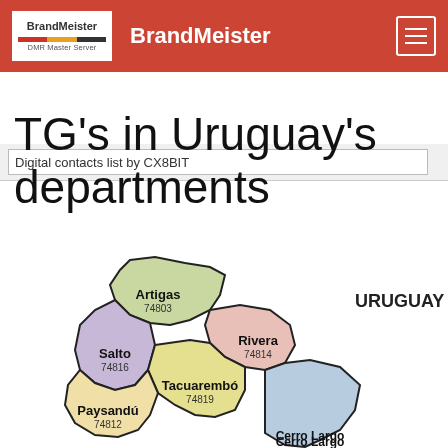BrandMeister
Digital contacts list by CX8BIT
TG's in Uruguay's departments
[Figure (map): Map of Uruguay showing departments with their TG numbers: Artigas 74803, Salto 74816, Rivera 74814, Paysandú 74812, Tacuarembó 74819, Cerro Largo (partially visible)]